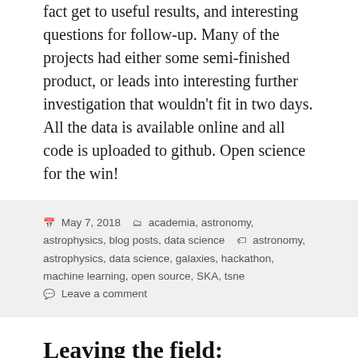fact get to useful results, and interesting questions for follow-up. Many of the projects had either some semi-finished product, or leads into interesting further investigation that wouldn't fit in two days. All the data is available online and all code is uploaded to github. Open science for the win!
May 7, 2018   academia, astronomy, astrophysics, blog posts, data science   astronomy, astrophysics, data science, galaxies, hackathon, machine learning, open source, SKA, tsne   Leave a comment
Leaving the field: becoming an extronomer
I wrote the post below roughly 5 years ago now. I quit my academic job in astrophysics, turned to